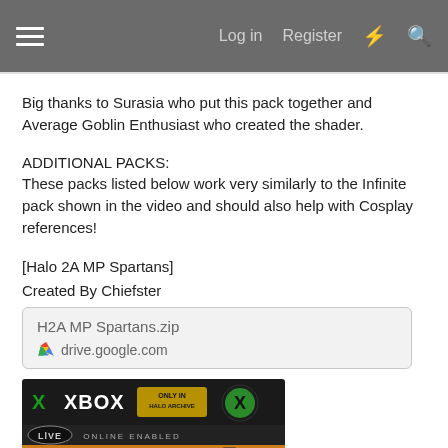≡   Log in  Register  ⚡  🔍
Big thanks to Surasia who put this pack together and Average Goblin Enthusiast who created the shader.
ADDITIONAL PACKS:
These packs listed below work very similarly to the Infinite pack shown in the video and should also help with Cosplay references!
[Halo 2A MP Spartans]
Created By Chiefster
H2A MP Spartans.zip
drive.google.com
[Figure (photo): Xbox Halo 2 Anniversary game cover showing XBOX logo with ONLY IN HALO ARCHIVE badge, LIVE ONLINE ENABLED label, and HALO 2 ANNIVERSARY title text]